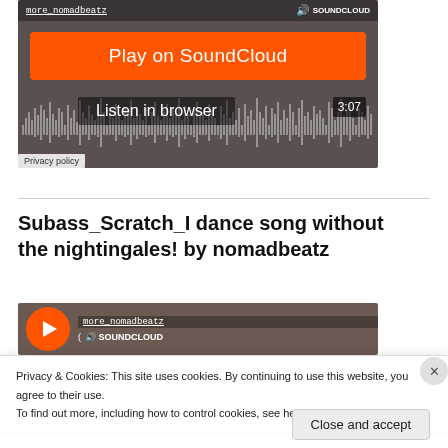[Figure (screenshot): SoundCloud embedded music player showing 'more_nomadbeatz' with orange 'Play on SoundCloud' button, waveform, 'Listen in browser' button, and 3:07 duration timer]
Privacy policy
Subass_Scratch_I dance song without the nightingales! by nomadbeatz
[Figure (screenshot): Second SoundCloud embedded player showing 'more_nomadbeatz' and SOUNDCLOUD logo with orange play circle]
Privacy & Cookies: This site uses cookies. By continuing to use this website, you agree to their use.
To find out more, including how to control cookies, see here: Cookie Policy
Close and accept